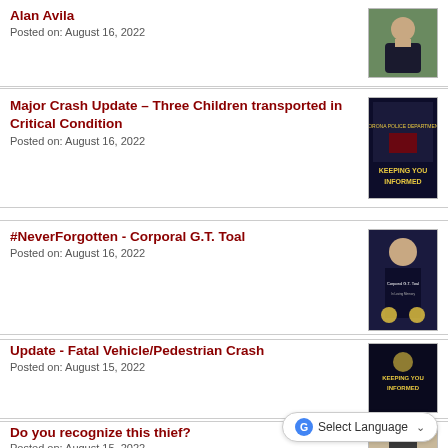Alan Avila
Posted on: August 16, 2022
[Figure (photo): Photo of a police officer standing outdoors in uniform]
Major Crash Update – Three Children transported in Critical Condition
Posted on: August 16, 2022
[Figure (photo): Dark blue police department informational graphic with text 'Keeping You Informed']
#NeverForgotten - Corporal G.T. Toal
Posted on: August 16, 2022
[Figure (photo): Dark blue memorial graphic for Corporal G.T. Toal with badge and text]
Update - Fatal Vehicle/Pedestrian Crash
Posted on: August 15, 2022
[Figure (photo): Dark police department informational graphic with text 'Keeping You Informed']
Do you recognize this thief?
Posted on: August 15, 2022
[Figure (photo): Partial photo of a person in a store setting]